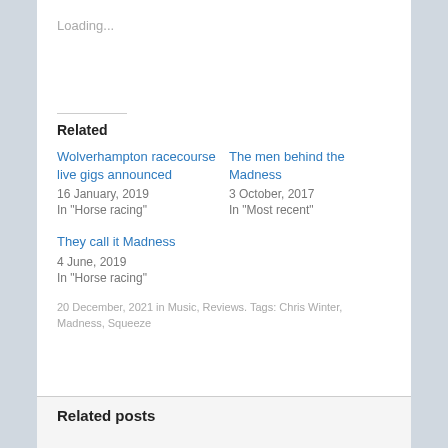Loading...
Related
Wolverhampton racecourse live gigs announced
16 January, 2019
In "Horse racing"
The men behind the Madness
3 October, 2017
In "Most recent"
They call it Madness
4 June, 2019
In "Horse racing"
20 December, 2021 in Music, Reviews. Tags: Chris Winter, Madness, Squeeze
Related posts